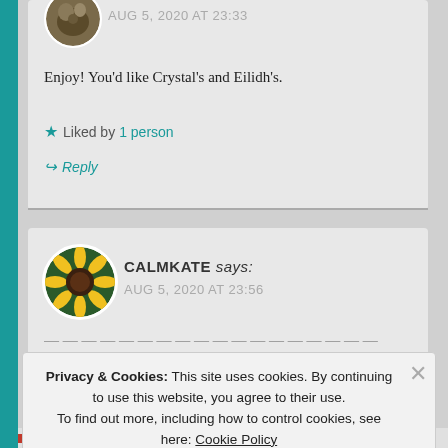AUG 5, 2020 AT 23:33
Enjoy! You'd like Crystal's and Eilidh's.
★ Liked by 1 person
↩ Reply
CALMKATE says: AUG 5, 2020 AT 23:56
Privacy & Cookies: This site uses cookies. By continuing to use this website, you agree to their use. To find out more, including how to control cookies, see here: Cookie Policy
Close and accept